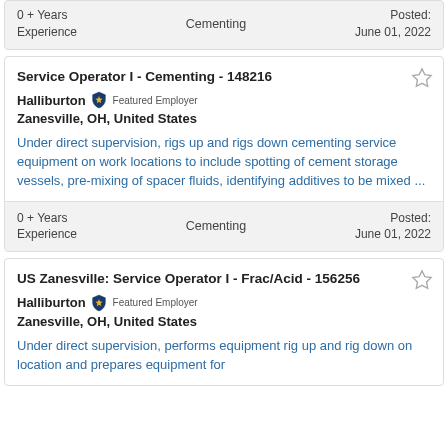0 + Years Experience | Cementing | Posted: June 01, 2022
Service Operator I - Cementing - 148216
Halliburton Featured Employer
Zanesville, OH, United States
Under direct supervision, rigs up and rigs down cementing service equipment on work locations to include spotting of cement storage vessels, pre-mixing of spacer fluids, identifying additives to be mixed ...
0 + Years Experience | Cementing | Posted: June 01, 2022
US Zanesville: Service Operator I - Frac/Acid - 156256
Halliburton Featured Employer
Zanesville, OH, United States
Under direct supervision, performs equipment rig up and rig down on location and prepares equipment for